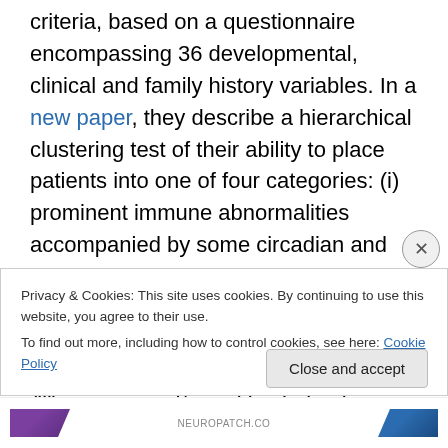criteria, based on a questionnaire encompassing 36 developmental, clinical and family history variables. In a new paper, they describe a hierarchical clustering test of their ability to place patients into one of four categories: (i) prominent immune abnormalities accompanied by some circadian and sensory issues (18% of the patients fell into this category), (ii) major circadian and sensory dysfunction without immune symptoms (18% of patients), (iii) stereotyped/repetitive behaviors and abnormal social behaviors (31% of patients), and (iv) mixture of all four components with great disruptive behaviors and mental
Privacy & Cookies: This site uses cookies. By continuing to use this website, you agree to their use.
To find out more, including how to control cookies, see here: Cookie Policy
Close and accept